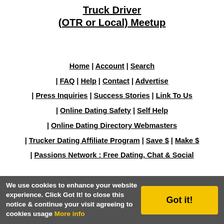Truck Driver (OTR or Local) Meetup
Home | Account | Search | FAQ | Help | Contact | Advertise | Press Inquiries | Success Stories | Link To Us | Online Dating Safety | Self Help | Online Dating Directory Webmasters | Trucker Dating Affiliate Program | Save $ | Make $ | Passions Network : Free Dating, Chat & Social
We use cookies to enhance your website experience. Click Got It! to close this notice & continue your visit agreeing to cookies usage More info | Got it!